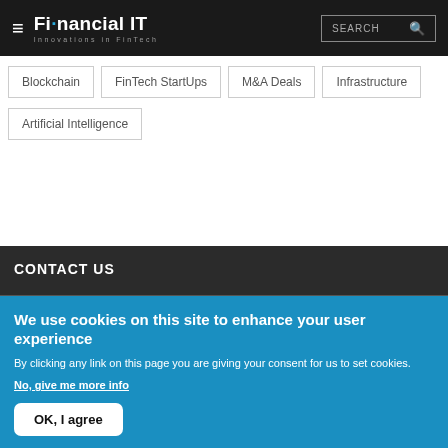Financial IT — Innovations in FinTech
Blockchain
FinTech StartUps
M&A Deals
Infrastructure
Artificial Intelligence
CONTACT US
We use cookies on this site to enhance your user experience
By clicking any link on this page you are giving your consent for us to set cookies. No, give me more info
OK, I agree